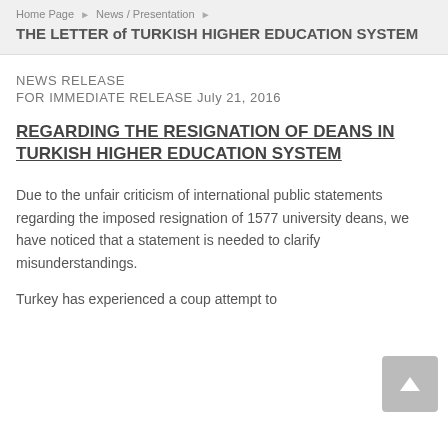Home Page ► News / Presentation ► THE LETTER of TURKISH HIGHER EDUCATION SYSTEM
NEWS RELEASE
FOR IMMEDIATE RELEASE July 21, 2016
REGARDING THE RESIGNATION OF DEANS IN TURKISH HIGHER EDUCATION SYSTEM
Due to the unfair criticism of international public statements regarding the imposed resignation of 1577 university deans, we have noticed that a statement is needed to clarify misunderstandings.
Turkey has experienced a coup attempt to